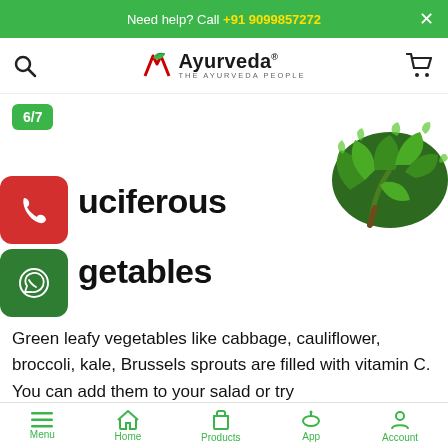Need help? Call +91 9099857272
[Figure (logo): AR Ayurveda logo with leaf graphic and tagline THE AYURVEDA PEOPLE]
6/7
[Figure (photo): Fresh green kale/curly leafy vegetable on white background]
Cruciferous Vegetables
Green leafy vegetables like cabbage, cauliflower, broccoli, kale, Brussels sprouts are filled with vitamin C. You can add them to your salad or try
Menu  Home  Products  App  Account